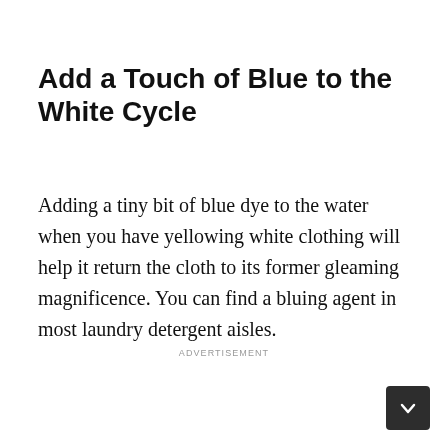Add a Touch of Blue to the White Cycle
Adding a tiny bit of blue dye to the water when you have yellowing white clothing will help it return the cloth to its former gleaming magnificence. You can find a bluing agent in most laundry detergent aisles.
ADVERTISEMENT